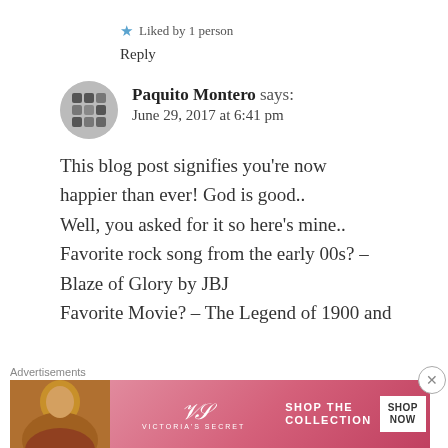★ Liked by 1 person
Reply
Paquito Montero says: June 29, 2017 at 6:41 pm
This blog post signifies you're now happier than ever! God is good.. Well, you asked for it so here's mine.. Favorite rock song from the early 00s? – Blaze of Glory by JBJ Favorite Movie? – The Legend of 1900 and
[Figure (photo): Advertisement banner: Victoria's Secret – Shop the Collection – Shop Now]
Advertisements